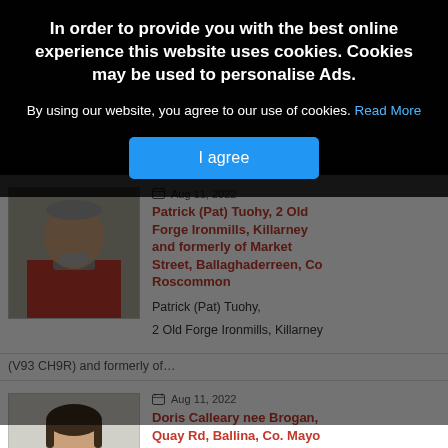[Figure (screenshot): Cookie consent overlay banner on a news/obituary website. Contains bold white text warning about cookies, a 'Read More' link in blue, and a blue 'I agree' button. Background shows obituary article listings with photos.]
In order to provide you with the best online experience this website uses cookies. Cookies may be used to personalise Ads.
By using our website, you agree to our use of cookies. Read More
I agree
[Figure (photo): Portrait photo of a man wearing a red jacket, partially visible below the cookie overlay]
Aug 11, 2022
Patrick (Pat) Tuohy, 2 Old Forge Ironmills, Killarney and formerly of Market Street, Ballaghaderreen, Co Roscommon
Patrick (Pat) Tuohy,
2 Old Forge Ironmills, Killarney
(V93 CH9R) and formerly of…
[Figure (photo): Portrait photo of a woman with dark hair wearing a pink/red top, smiling]
Aug 11, 2022
Doris Calleary nee Brogan, Quay Rd, Ballina, Co. Mayo and Easkey, Co. Sligo
Doris Calleary nee Brogan,
Quay Rd, Ballina, Co. Mayo and…